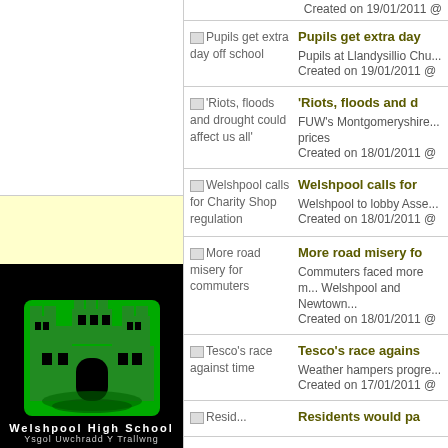[Figure (logo): Welshpool High School logo - green castle on black background]
Created on 19/01/2011 @
Pupils get extra day off school | Pupils at Llandysillio Chu... | Created on 19/01/2011 @
'Riots, floods and drought could affect us all' | FUW's Montgomeryshire ...prices | Created on 18/01/2011 @
Welshpool calls for Charity Shop regulation | Welshpool to lobby Asse... | Created on 18/01/2011 @
More road misery for commuters | Commuters faced more m... Welshpool and Newtown... | Created on 18/01/2011 @
Tesco's race against time | Weather hampers progre... | Created on 17/01/2011 @
Residents would pa...